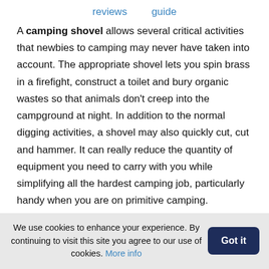reviews   guide
A camping shovel allows several critical activities that newbies to camping may never have taken into account. The appropriate shovel lets you spin brass in a firefight, construct a toilet and bury organic wastes so that animals don't creep into the campground at night. In addition to the normal digging activities, a shovel may also quickly cut, cut and hammer. It can really reduce the quantity of equipment you need to carry with you while simplifying all the hardest camping job, particularly handy when you are on primitive camping.
Camping is pleasant if you have the correct tools for
We use cookies to enhance your experience. By continuing to visit this site you agree to our use of cookies. More info